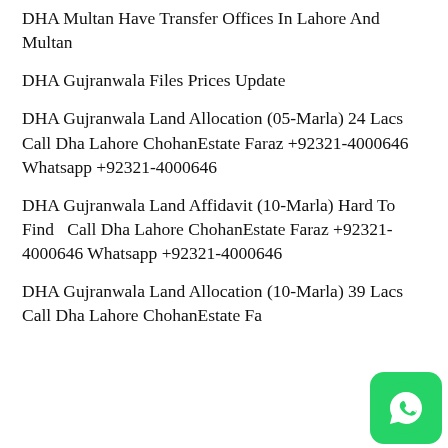DHA Multan Have Transfer Offices In Lahore And Multan
DHA Gujranwala Files Prices Update
DHA Gujranwala Land Allocation (05-Marla) 24 Lacs Call Dha Lahore ChohanEstate Faraz +92321-4000646 Whatsapp +92321-4000646
DHA Gujranwala Land Affidavit (10-Marla) Hard To Find  Call Dha Lahore ChohanEstate Faraz +92321-4000646 Whatsapp +92321-4000646
DHA Gujranwala Land Allocation (10-Marla) 39 Lacs Call Dha Lahore ChohanEstate Fa…